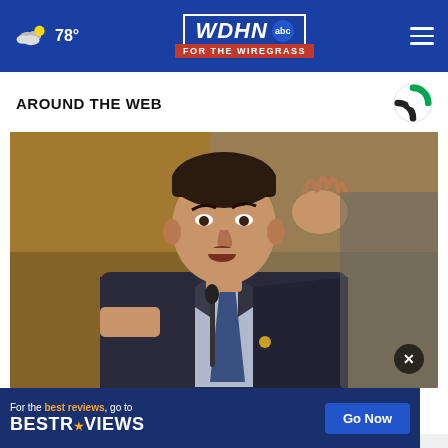78° WDHN ABC FOR THE WIREGRASS
AROUND THE WEB
[Figure (photo): Man in dark suit with blue tie speaking at a microphone, raising his right hand, appearing to testify or speak at a formal hearing.]
Bu... the...
[Figure (infographic): BestReviews advertisement banner: 'For the best reviews, go to BESTREVIEWS' with 'Go Now' button]